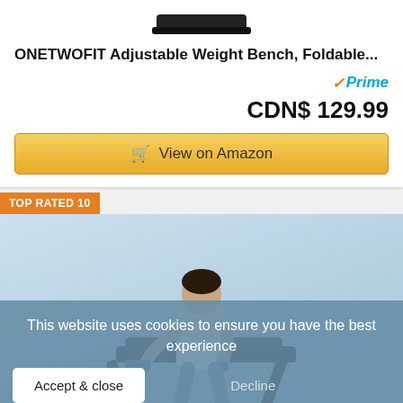[Figure (screenshot): Partial product image of ONETWOFIT adjustable weight bench, cropped at top]
ONETWOFIT Adjustable Weight Bench, Foldable...
[Figure (logo): Amazon Prime badge with checkmark and 'Prime' text]
CDN$ 129.99
View on Amazon
TOP RATED 10
[Figure (photo): Man lifting dumbbells on an adjustable weight bench, blue background]
This website uses cookies to ensure you have the best experience
Accept & close
Decline